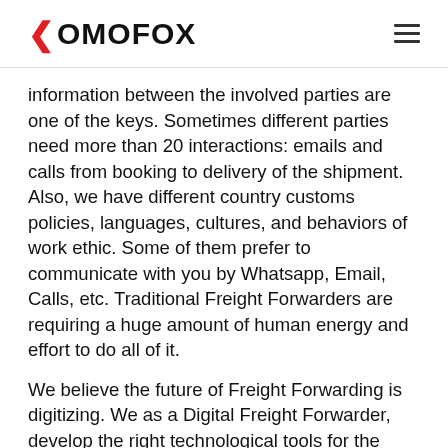KOMOFOX
information between the involved parties are one of the keys. Sometimes different parties need more than 20 interactions: emails and calls from booking to delivery of the shipment. Also, we have different country customs policies, languages, cultures, and behaviors of work ethic. Some of them prefer to communicate with you by Whatsapp, Email, Calls, etc. Traditional Freight Forwarders are requiring a huge amount of human energy and effort to do all of it.
We believe the future of Freight Forwarding is digitizing. We as a Digital Freight Forwarder, develop the right technological tools for the customers and our logistical team members to increase their efficiency by a mix of technology. As I told you, during the process, we are generating a